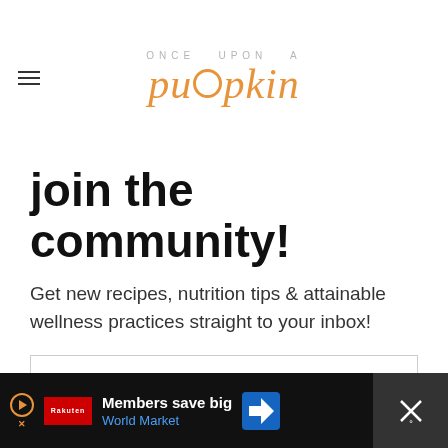ONCE UPON A pumpkin
join the community!
Get new recipes, nutrition tips & attainable wellness practices straight to your inbox!
Email address
Subscribe
Members save big World Market